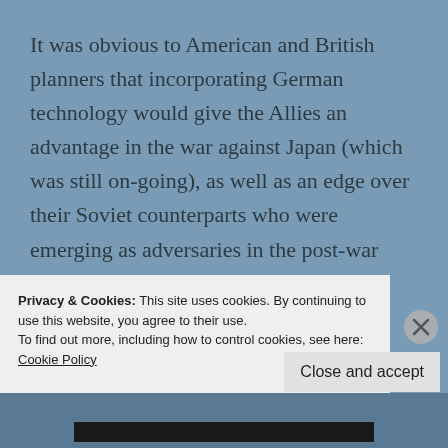It was obvious to American and British planners that incorporating German technology would give the Allies an advantage in the war against Japan (which was still on-going), as well as an edge over their Soviet counterparts who were emerging as adversaries in the post-war world. Operation Lusty under Colonel Harold E. Wilson was tasked with collecting German aircraft and weapons systems along with associated documentation and research, and transferring them to the United States. A
Privacy & Cookies: This site uses cookies. By continuing to use this website, you agree to their use.
To find out more, including how to control cookies, see here: Cookie Policy
Close and accept